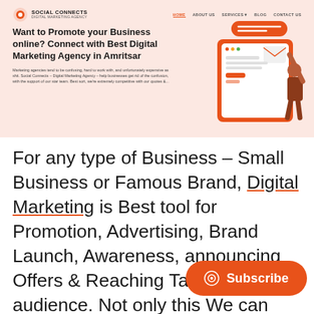[Figure (screenshot): Screenshot of Social Connects Digital Marketing Agency website homepage with navigation bar (HOME, ABOUT US, SERVICES, BLOG, CONTACT US), hero headline 'Want to Promote your Business online? Connect with Best Digital Marketing Agency in Amritsar', short body text, and an illustration of a person interacting with digital devices on a pink/peach background.]
For any type of Business – Small Business or Famous Brand, Digital Marketing is Best tool for Promotion, Advertising, Brand Launch, Awareness, announcing Offers & Reaching Targeted audience. Not only this We can help you in managing your Social B... graphics, business posts, advertise your social accounts. Rank up among your...